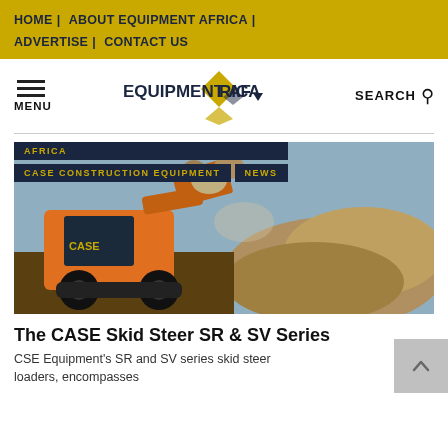HOME | ABOUT EQUIPMENT AFRICA | ADVERTISE | CONTACT US
[Figure (logo): Equipment Africa logo with yellow diamond/triangle shape and bold text]
SEARCH
[Figure (photo): CASE skid steer loader moving rocks on a construction site, orange machine against rubble and sky. Tags: AFRICA, CASE CONSTRUCTION EQUIPMENT, NEWS]
The CASE Skid Steer SR & SV Series
CSE Equipment's SR and SV series skid steer loaders, encompasses